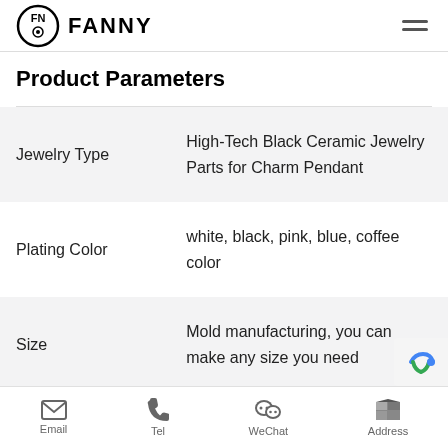FANNY
Product Parameters
| Parameter | Value |
| --- | --- |
| Jewelry Type | High-Tech Black Ceramic Jewelry Parts for Charm Pendant |
| Plating Color | white, black, pink, blue, coffee color |
| Size | Mold manufacturing, you can make any size you need |
Email | Tel | WeChat | Address